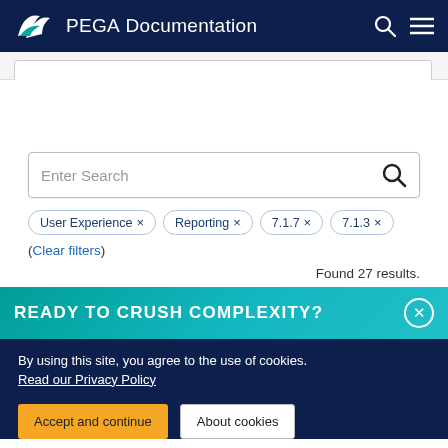PEGA Documentation
[Figure (screenshot): Top search bar area with light grey input box]
[Figure (screenshot): Search input box with placeholder 'Enter Search' and magnifying glass icon]
User Experience × Reporting × 7.1.7 × 7.1.3 ×
(Clear filters)
Found 27 results.
READY TO CRUSH COMPLEXITY?
By using this site, you agree to the use of cookies. Read our Privacy Policy
Accept and continue
About cookies